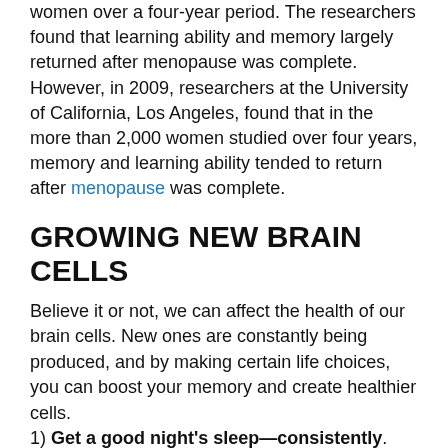women over a four-year period. The researchers found that learning ability and memory largely returned after menopause was complete. However, in 2009, researchers at the University of California, Los Angeles, found that in the more than 2,000 women studied over four years, memory and learning ability tended to return after menopause was complete.
GROWING NEW BRAIN CELLS
Believe it or not, we can affect the health of our brain cells. New ones are constantly being produced, and by making certain life choices, you can boost your memory and create healthier cells.
1) Get a good night's sleep—consistently. Aim for between seven and nine hours per night.
2) Get exercise. Anything that works up a sweat will do the trick. Studies show that cognitive function increases in those who stick to an exercise regimon.